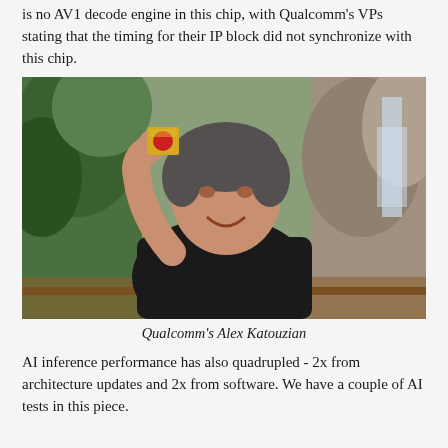is no AV1 decode engine in this chip, with Qualcomm's VPs stating that the timing for their IP block did not synchronize with this chip.
[Figure (photo): Qualcomm's Alex Katouzian holding up a Snapdragon chip, smiling, wearing a black t-shirt, standing outdoors near a waterfall and tropical foliage.]
Qualcomm's Alex Katouzian
AI inference performance has also quadrupled - 2x from architecture updates and 2x from software. We have a couple of AI tests in this piece.